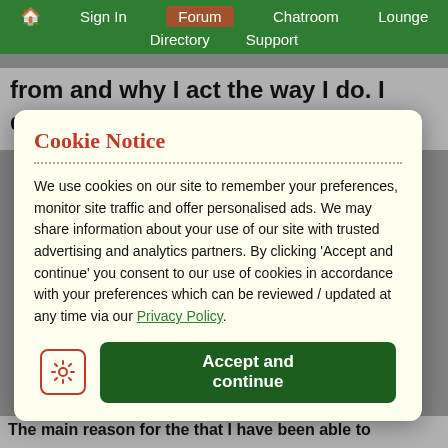🏠 Sign In | Forum | Chatroom | Lounge | Directory | Support
from and why I act the way I do. I don't know what more to do. I've seen a therapist, I've been out on medication, I stopped talking to my father
Cookie Notice
We use cookies on our site to remember your preferences, monitor site traffic and offer personalised ads. We may share information about your use of our site with trusted advertising and analytics partners. By clicking 'Accept and continue' you consent to our use of cookies in accordance with your preferences which can be reviewed / updated at any time via our Privacy Policy.
Accept and continue